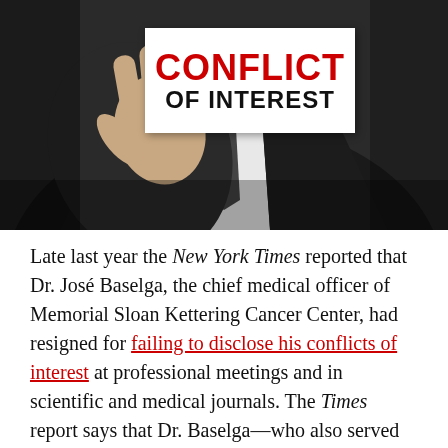[Figure (photo): A person in a black suit holding up a white card that reads 'CONFLICT OF INTEREST' in bold text, with red letters for 'CONFLICT' and black for 'OF INTEREST'.]
Late last year the New York Times reported that Dr. José Baselga, the chief medical officer of Memorial Sloan Kettering Cancer Center, had resigned for failing to disclose his conflicts of interest at professional meetings and in scientific and medical journals. The Times report says that Dr. Baselga—who also served as physician-in-chief at the center—"had failed to disclose millions of dollars in payments from health care companies in dozens